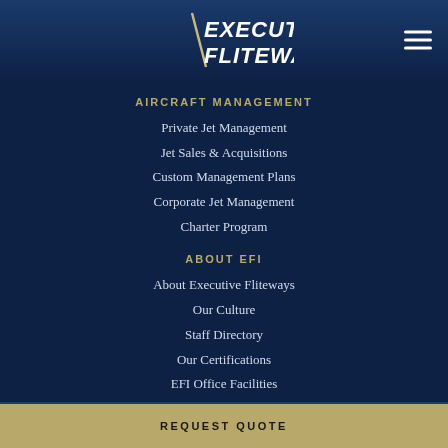[Figure (logo): Executive Fliteways logo — stylized text with diagonal slash, white on dark blue background]
AIRCRAFT MANAGEMENT
Private Jet Management
Jet Sales & Acquisitions
Custom Management Plans
Corporate Jet Management
Charter Program
ABOUT EFI
About Executive Fliteways
Our Culture
Staff Directory
Our Certifications
EFI Office Facilities
REQUEST QUOTE